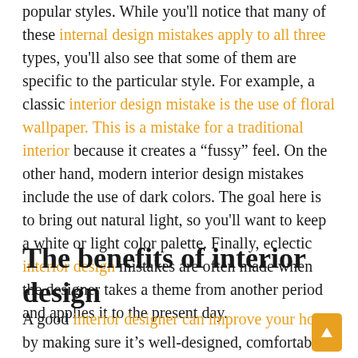popular styles. While you'll notice that many of these internal design mistakes apply to all three types, you'll also see that some of them are specific to the particular style. For example, a classic interior design mistake is the use of floral wallpaper. This is a mistake for a traditional interior because it creates a "fussy" feel. On the other hand, modern interior design mistakes include the use of dark colors. The goal here is to bring out natural light, so you'll want to keep a white or light color palette. Finally, eclectic interior design mistakes are often made when the designer takes a theme from another period and applies it to the present day.
The benefits of interior design
A good interior designer can improve your home by making sure it's well-designed, comfortable, and